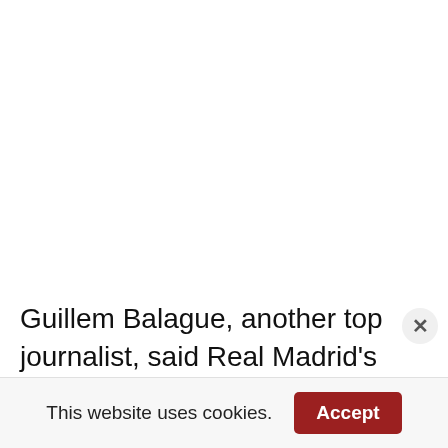Guillem Balague, another top journalist, said Real Madrid’s president, Florentino Pérez, on Friday,
[Figure (screenshot): Advertisement banner showing 'Best Injury Lawyer Fees' with a dark square image on the left and ad controls (play/forward and close icons) on the right]
This website uses cookies.
Accept